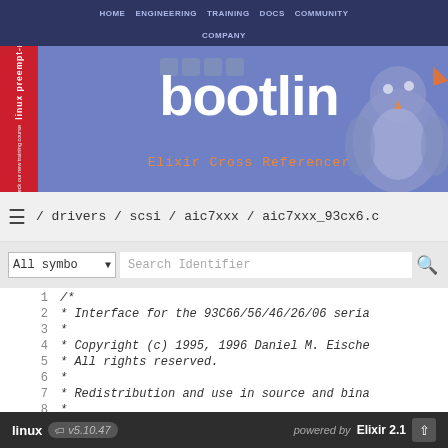[Figure (screenshot): Bootlin website header with navigation bar (HOME, ENGINEERING, TRAINING, DOCS, COMMUNITY, COMPANY), red sidebar with rotated text 'linux preempt-rt / Check our new training course', Bootlin logo in white on blue-purple background, social media icons, Elixir Cross Referencer subtitle, and a penguin mascot silhouette]
/ drivers / scsi / aic7xxx / aic7xxx_93cx6.c
All symbo ▾  Search Identifier
| line | code |
| --- | --- |
| 1 | /* |
| 2 |  * Interface for the 93C66/56/46/26/06 seria... |
| 3 |  * |
| 4 |  * Copyright (c) 1995, 1996 Daniel M. Eische... |
| 5 |  * All rights reserved. |
| 6 |  * |
| 7 |  * Redistribution and use in source and bina... |
| 8 |  * ... |
linux  v5.10.47  powered by Elixir 2.1